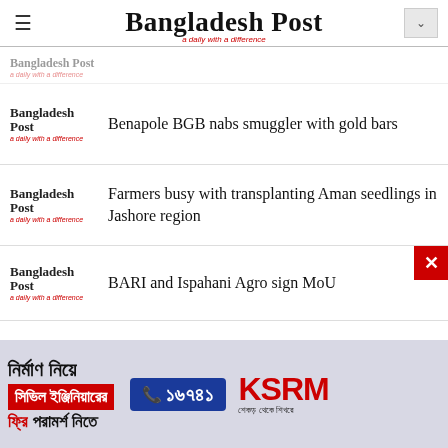Bangladesh Post
Benapole BGB nabs smuggler with gold bars
Farmers busy with transplanting Aman seedlings in Jashore region
BARI and Ispahani Agro sign MoU
[Figure (infographic): Advertisement banner in Bengali for KSRM civil engineering free consultation service with phone number 16741]